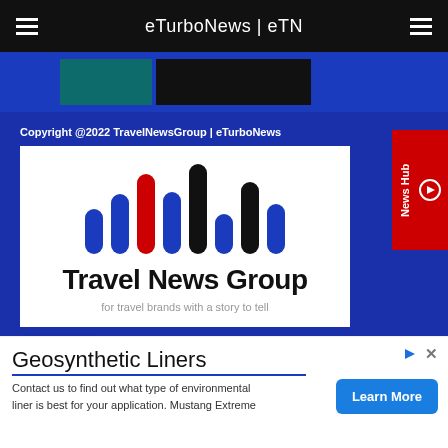eTurboNews | eTN
[Figure (screenshot): Blue banner area with thumbnail images]
Copyright @2022 TravelNewsGroup | eTurboNews
[Figure (logo): Travel News Group logo with colored vertical bars and tagline 'for travel brands with a story to tell']
Geosynthetic Liners
Contact us to find out what type of environmental liner is best for your application. Mustang Extreme